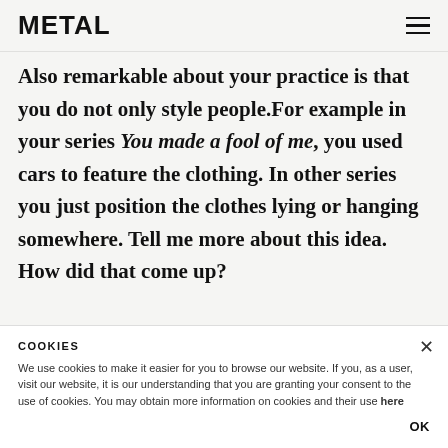METAL
Also remarkable about your practice is that you do not only style people.For example in your series You made a fool of me, you used cars to feature the clothing. In other series you just position the clothes lying or hanging somewhere. Tell me more about this idea. How did that come up?
The whole idea of still life also came very naturally to me. I just put some clothes somewhere in the house and took pictures of them. Nothing more. It was later on that I analyzed it and realized I was
COOKIES
We use cookies to make it easier for you to browse our website. If you, as a user, visit our website, it is our understanding that you are granting your consent to the use of cookies. You may obtain more information on cookies and their use here
OK